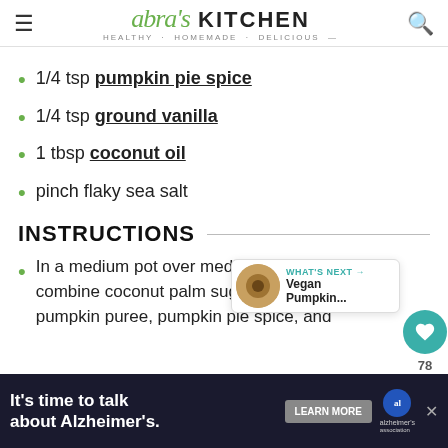Abra's KITCHEN · HEALTHY · HOMEMADE · DELICIOUS
1/4 tsp pumpkin pie spice
1/4 tsp ground vanilla
1 tbsp coconut oil
pinch flaky sea salt
INSTRUCTIONS
In a medium pot over medium-high heat combine coconut palm sugar, coc... pumpkin puree, pumpkin pie spice, and
[Figure (other): Vegan Pumpkin... thumbnail image with What's Next label]
[Figure (other): Advertisement banner: It's time to talk about Alzheimer's. with Learn More button and Alzheimer's Association logo]